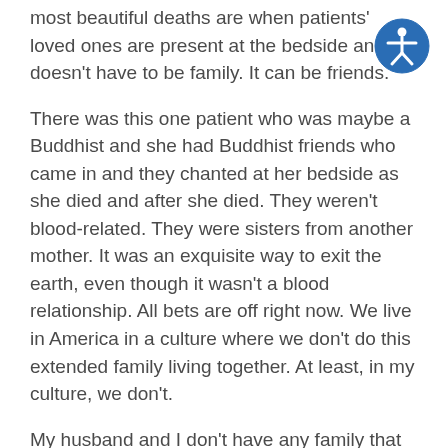most beautiful deaths are when patients' loved ones are present at the bedside and it doesn't have to be family. It can be friends.
[Figure (illustration): Accessibility icon: a blue circle with a white stick figure person with arms outstretched]
There was this one patient who was maybe a Buddhist and she had Buddhist friends who came in and they chanted at her bedside as she died and after she died. They weren't blood-related. They were sisters from another mother. It was an exquisite way to exit the earth, even though it wasn't a blood relationship. All bets are off right now. We live in America in a culture where we don't do this extended family living together. At least, in my culture, we don't.
My husband and I don't have any family that lives in Portland, Oregon. All of our family are in other places in the US. All bets are off when people are dying. You don't know who is going to be there and who can be there. I think a lot about my friends